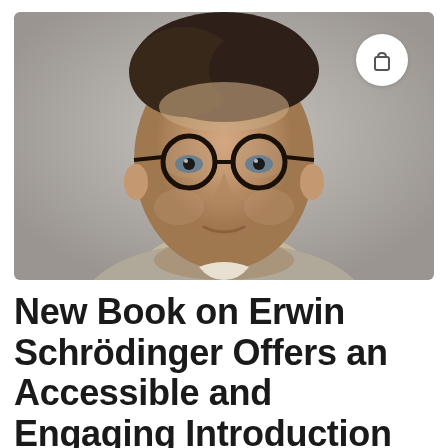[Figure (photo): Colorized black-and-white portrait photograph of Erwin Schrödinger, a middle-aged man with round black-rimmed glasses, dark hair combed back, wearing a light-colored suit jacket, with a slight smile. A shopping bag icon button appears in the upper right corner of the image.]
New Book on Erwin Schrödinger Offers an Accessible and Engaging Introduction to the Nobel